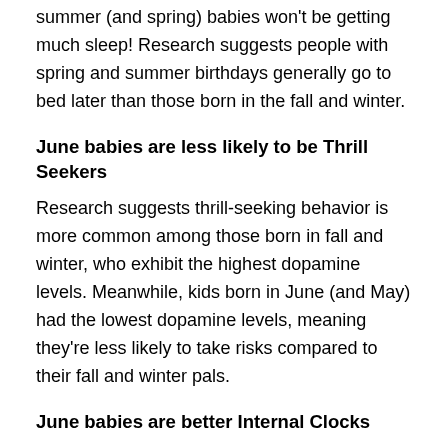summer (and spring) babies won't be getting much sleep! Research suggests people with spring and summer birthdays generally go to bed later than those born in the fall and winter.
June babies are less likely to be Thrill Seekers
Research suggests thrill-seeking behavior is more common among those born in fall and winter, who exhibit the highest dopamine levels. Meanwhile, kids born in June (and May) had the lowest dopamine levels, meaning they're less likely to take risks compared to their fall and winter pals.
June babies are better Internal Clocks
Being born during the month of June could mean you have a better internal clock, study authors suspect.
June babies share a birth month with the Stars